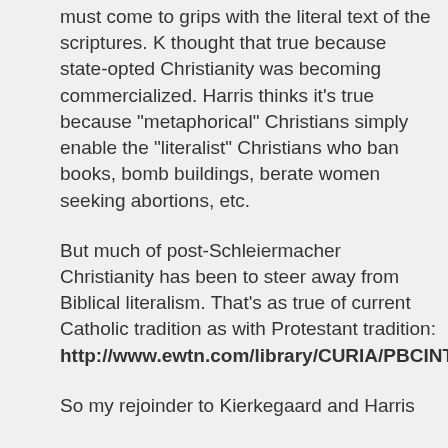must come to grips with the literal text of the scriptures. K thought that true because state-opted Christianity was becoming commercialized. Harris thinks it's true because "metaphorical" Christians simply enable the "literalist" Christians who ban books, bomb buildings, berate women seeking abortions, etc.
But much of post-Schleiermacher Christianity has been to steer away from Biblical literalism. That's as true of current Catholic tradition as with Protestant tradition: http://www.ewtn.com/library/CURIA/PBCINTER.HT
So my rejoinder to Kierkegaard and Harris